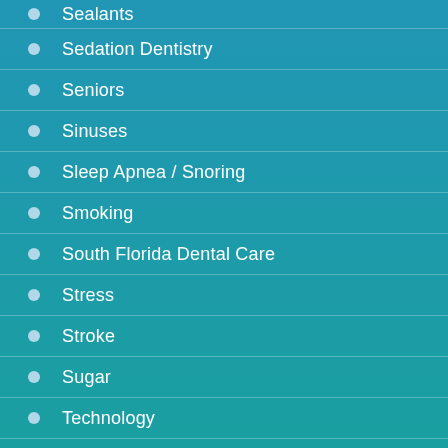Sealants
Sedation Dentistry
Seniors
Sinuses
Sleep Apnea / Snoring
Smoking
South Florida Dental Care
Stress
Stroke
Sugar
Technology
Teeth Whitening
Thanksgiving